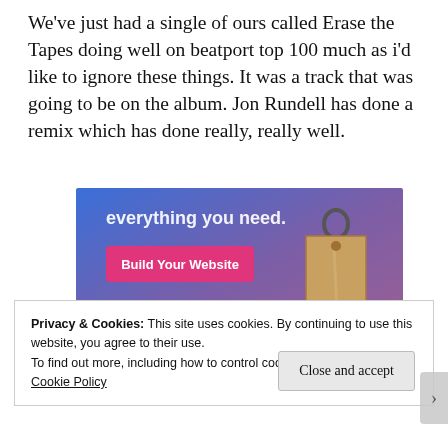We've just had a single of ours called Erase the Tapes doing well on beatport top 100 much as i'd like to ignore these things. It was a track that was going to be on the album. Jon Rundell has done a remix which has done really, really well.
[Figure (screenshot): Advertisement banner with blue-to-purple gradient background showing text 'everything you need.' with a pink 'Build Your Website' button and a luggage tag graphic on the right.]
Privacy & Cookies: This site uses cookies. By continuing to use this website, you agree to their use.
To find out more, including how to control cookies, see here: Cookie Policy